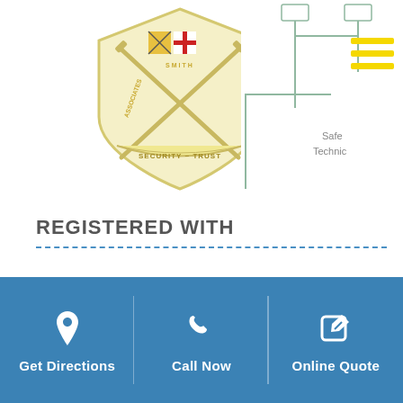[Figure (logo): Shield-shaped logo with crossed keys/rifles, Maryland flag colors, text reading SMITH ASSOCIATES SECURITY ~ TRUST in yellow arc]
[Figure (logo): Partial organizational chart or building diagram with text 'Safe' and 'Technic', with yellow hamburger menu lines overlay in top right]
REGISTERED WITH
Get Directions | Call Now | Online Quote